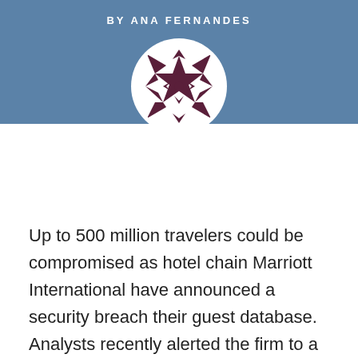BY ANA FERNANDES
[Figure (illustration): Circular avatar image with geometric quilt-like pattern in dark maroon/purple on white background]
Up to 500 million travelers could be compromised as hotel chain Marriott International have announced a security breach their guest database. Analysts recently alerted the firm to a vulnerability that has granted hackers access to the hotel chain's systems since 2014.